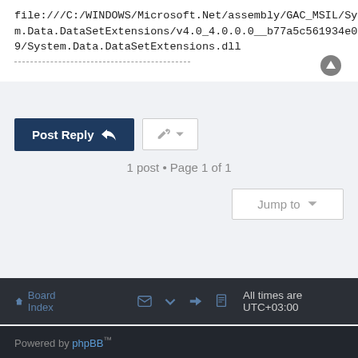file:///C:/WINDOWS/Microsoft.Net/assembly/GAC_MSIL/System.Data.DataSetExtensions/v4.0_4.0.0.0__b77a5c561934e089/System.Data.DataSetExtensions.dll
1 post • Page 1 of 1
Jump to
Board index   All times are UTC+03:00
Powered by phpBB™